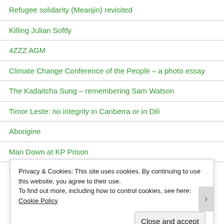Refugee solidarity (Meanjin) revisited
Killing Julian Softly
4ZZZ AGM
Climate Change Conference of the People – a photo essay
The Kadaitcha Sung – remembering Sam Watson
Timor Leste: no integrity in Canberra or in Dili
Aborigine
Man Down at KP Prison
The nuclear submarines are coming
Privacy & Cookies: This site uses cookies. By continuing to use this website, you agree to their use.
To find out more, including how to control cookies, see here: Cookie Policy
Close and accept